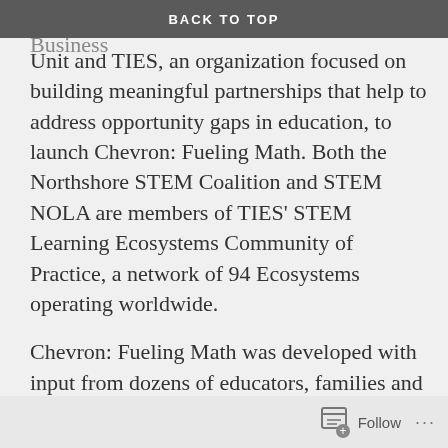BACK TO TOP
joined forces with Chevron's Gulf of Mexico Business Unit and TIES, an organization focused on building meaningful partnerships that help to address opportunity gaps in education, to launch Chevron: Fueling Math. Both the Northshore STEM Coalition and STEM NOLA are members of TIES' STEM Learning Ecosystems Community of Practice, a network of 94 Ecosystems operating worldwide.
Chevron: Fueling Math was developed with input from dozens of educators, families and community leaders and made possible through $75,000 in funding from Chevron. Imagine Learning is also providing support for the initiative.
The program will work to raise the public's understanding of the role math plays in everyday lives,